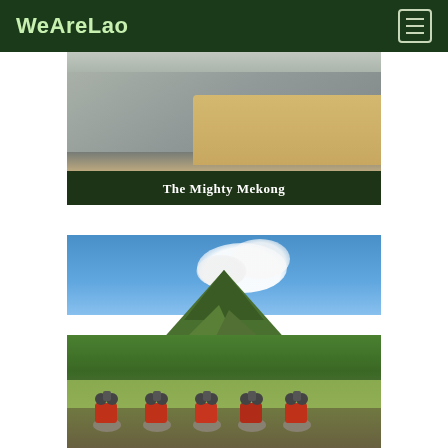WeAreLao
[Figure (photo): Aerial or elevated view of the Mekong River with a road/path visible, sandy/rocky riverbank, with a dark green overlay caption bar at the bottom reading 'The Mighty Mekong']
The Mighty Mekong
[Figure (photo): Group of motorcycle dirt bikers in a field with a dramatic mountain peak and blue sky with white clouds in the background, lush green vegetation in Laos]